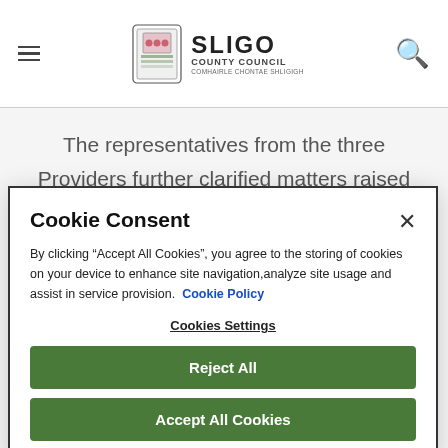Sligo County Council
The representatives from the three Providers further clarified matters raised in relation to their particular
Cookie Consent
By clicking “Accept All Cookies”, you agree to the storing of cookies on your device to enhance site navigation, analyze site usage and assist in service provision. Cookie Policy
Cookies Settings
Reject All
Accept All Cookies